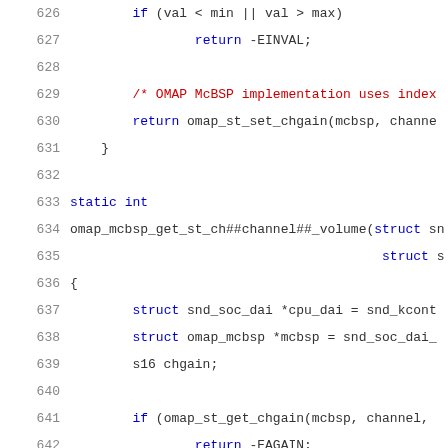626    if (val < min || val > max)
627            return -EINVAL;
628
629        /* OMAP McBSP implementation uses index
630        return omap_st_set_chgain(mcbsp, channel,
631    }
632
633    static int
634    omap_mcbsp_get_st_ch##channel##_volume(struct sn
635                                            struct s
636    {
637        struct snd_soc_dai *cpu_dai = snd_kcont
638        struct omap_mcbsp *mcbsp = snd_soc_dai_
639        s16 chgain;
640
641        if (omap_st_get_chgain(mcbsp, channel,
642                return -EAGAIN;
643
644        uc->value.integer.value[0] = chgain;
645        return 0;
646    }
647